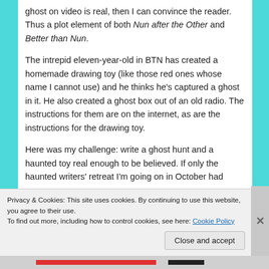ghost on video is real, then I can convince the reader. Thus a plot element of both Nun after the Other and Better than Nun.
The intrepid eleven-year-old in BTN has created a homemade drawing toy (like those red ones whose name I cannot use) and he thinks he's captured a ghost in it. He also created a ghost box out of an old radio. The instructions for them are on the internet, as are the instructions for the drawing toy.
Here was my challenge: write a ghost hunt and a haunted toy real enough to be believed. If only the haunted writers' retreat I'm going on in October had
Privacy & Cookies: This site uses cookies. By continuing to use this website, you agree to their use.
To find out more, including how to control cookies, see here: Cookie Policy